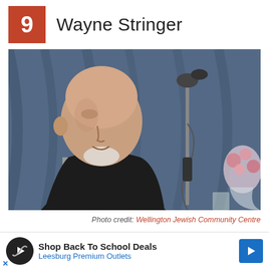9  Wayne Stringer
[Figure (photo): An elderly man with a shaved head and white goatee, wearing a plaid shirt and dark vest, standing at a microphone stand. A vase of pink flowers is visible in the background against blue curtains.]
Photo credit: Wellington Jewish Community Centre
In 1992, the Simon Wiesenthal Center (a noted Jewish human rights organization) named him as one of the top police officers who
[Figure (infographic): Advertisement banner: Shop Back To School Deals - Leesburg Premium Outlets]